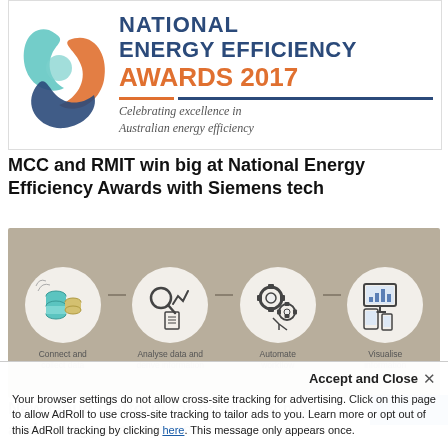[Figure (logo): National Energy Efficiency Awards 2017 banner with interlocking colored ribbon logo and tagline 'Celebrating excellence in Australian energy efficiency']
MCC and RMIT win big at National Energy Efficiency Awards with Siemens tech
[Figure (infographic): Four-step process infographic on beige/tan background: circles showing 1) Connect and collect data (database icons), 2) Analyse data and derive information (magnifying glass and chart icons), 3) Automate workflow (gear icons), 4) Visualise information (screen and device icons). Steps connected by horizontal lines.]
New cloud platform for predictive mai... and energy management
Accept and Close ×
Your browser settings do not allow cross-site tracking for advertising. Click on this page to allow AdRoll to use cross-site tracking to tailor ads to you. Learn more or opt out of this AdRoll tracking by clicking here. This message only appears once.